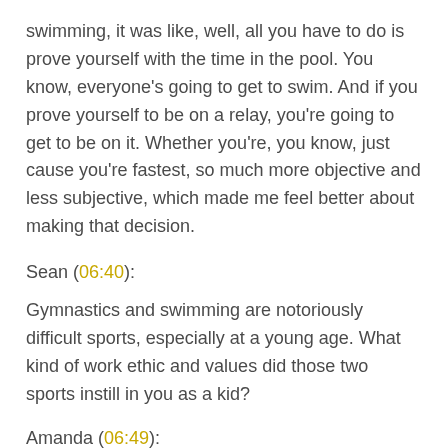swimming, it was like, well, all you have to do is prove yourself with the time in the pool. You know, everyone's going to get to swim. And if you prove yourself to be on a relay, you're going to get to be on it. Whether you're, you know, just cause you're fastest, so much more objective and less subjective, which made me feel better about making that decision.
Sean (06:40):
Gymnastics and swimming are notoriously difficult sports, especially at a young age. What kind of work ethic and values did those two sports instill in you as a kid?
Amanda (06:49):
Gymnastics I think is where, and a lot of CrossFitters